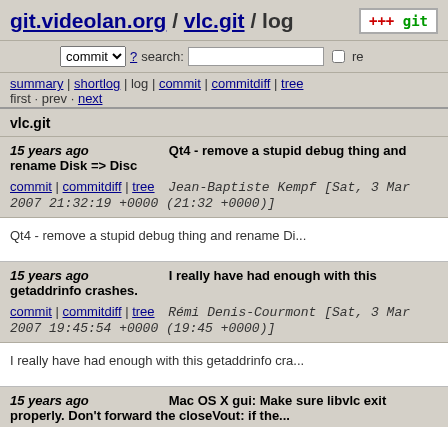git.videolan.org / vlc.git / log
commit ? search: re
summary | shortlog | log | commit | commitdiff | tree
first · prev · next
vlc.git
15 years ago   Qt4 - remove a stupid debug thing and rename Disk => Disc
commit | commitdiff | tree   Jean-Baptiste Kempf [Sat, 3 Mar 2007 21:32:19 +0000 (21:32 +0000)]
Qt4 - remove a stupid debug thing and rename Di...
15 years ago   I really have had enough with this getaddrinfo crashes.
commit | commitdiff | tree   Rémi Denis-Courmont [Sat, 3 Mar 2007 19:45:54 +0000 (19:45 +0000)]
I really have had enough with this getaddrinfo cra...
15 years ago   Mac OS X gui: Make sure libvlc exit properly. Don't forward the closeVout: if the...